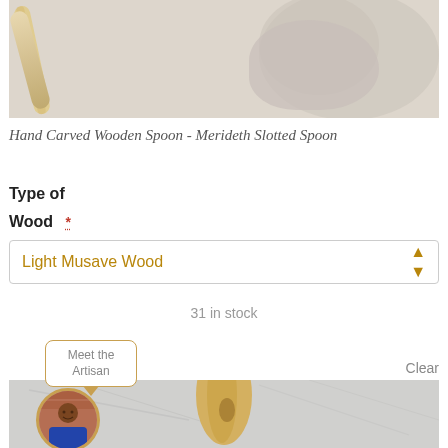[Figure (photo): Top portion of a product photo showing a hand carved wooden spoon with flour or dough on a light grey background]
Hand Carved Wooden Spoon - Merideth Slotted Spoon
Type of
Wood *
Light Musave Wood
31 in stock
Meet the Artisan
Clear
[Figure (photo): Bottom portion of a product photo showing the handle of a hand carved wooden spoon against a marble background, with a circular artisan portrait photo overlaid in the bottom left]